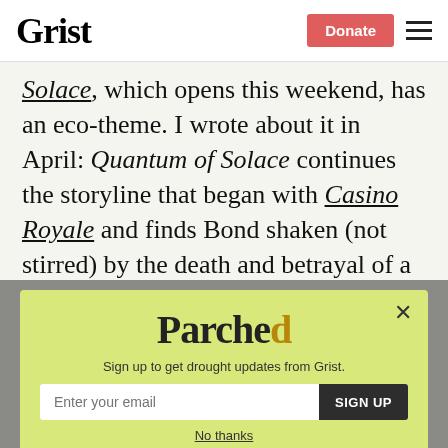Grist | Donate
Solace, which opens this weekend, has an eco-theme. I wrote about it in April: Quantum of Solace continues the storyline that began with Casino Royale and finds Bond shaken (not stirred) by the death and betrayal of a loved one.
[Figure (other): Parched newsletter signup popup on yellow-green background with email input and SIGN UP button. Text: 'Sign up to get drought updates from Grist.' Link: 'No thanks']